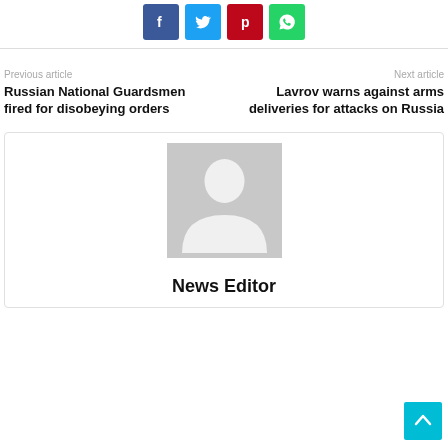[Figure (other): Social share buttons: Facebook (blue), Twitter (light blue), Pinterest (red), WhatsApp (green)]
Previous article
Russian National Guardsmen fired for disobeying orders
Next article
Lavrov warns against arms deliveries for attacks on Russia
[Figure (illustration): Generic author avatar placeholder (grey silhouette on grey background)]
News Editor